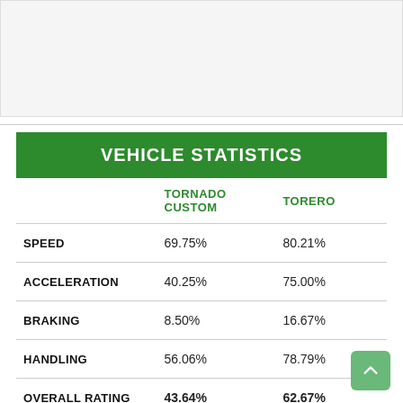[Figure (other): Blank image/vehicle photo area at top of page]
VEHICLE STATISTICS
|  | TORNADO CUSTOM | TORERO |
| --- | --- | --- |
| SPEED | 69.75% | 80.21% |
| ACCELERATION | 40.25% | 75.00% |
| BRAKING | 8.50% | 16.67% |
| HANDLING | 56.06% | 78.79% |
| OVERALL RATING | 43.64% | 62.67% |